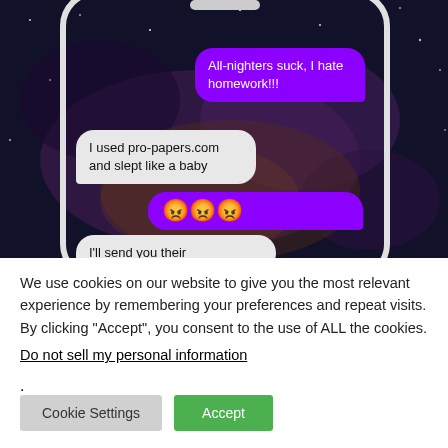[Figure (screenshot): Screenshot of a smartphone showing a text message conversation. Purple bubble from user: 'All-nighters suck, I hate homework!!!' Grey bubble reply: 'I used pro-papers.com and slept like a baby'. Purple bubble with three angry face emojis. Partially visible grey bubble: 'I'll send you their'. Background is a dark space/galaxy image.]
We use cookies on our website to give you the most relevant experience by remembering your preferences and repeat visits. By clicking “Accept”, you consent to the use of ALL the cookies.
Do not sell my personal information.